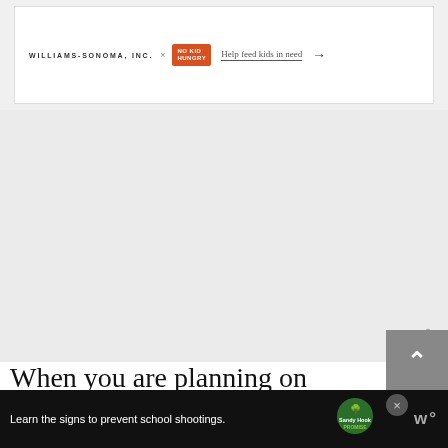[Figure (screenshot): Williams-Sonoma Inc. x No Kid Hungry advertisement banner: 'Help feed kids in need →']
[Figure (screenshot): Large grey advertisement placeholder area with a small watermark 'W°' in lower right]
When you are planning on keeping two or more cats, you should make sure that there are multiple feeding and drinking b…
[Figure (screenshot): Sandy Hook Promise advertisement bar at bottom: 'Learn the signs to prevent school shootings.' with logo and close button. W° watermark on right.]